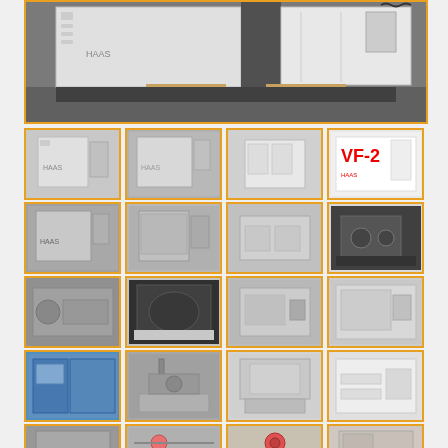[Figure (photo): Large main photo of a Haas CNC vertical machining center, gray and white enclosure, on wooden pallets or floor.]
[Figure (photo): Thumbnail: Haas VF series CNC vertical machining center, white enclosure.]
[Figure (photo): Thumbnail: Haas VF series CNC vertical machining center, white enclosure, side view.]
[Figure (photo): Thumbnail: Haas CNC machining center, front view.]
[Figure (photo): Thumbnail: Haas VF-2 CNC machining center, white with red VF-2 logo.]
[Figure (photo): Thumbnail: Haas CNC machining center, side angle view.]
[Figure (photo): Thumbnail: Haas CNC machining center, angled view.]
[Figure (photo): Thumbnail: CNC machine or EDM machine.]
[Figure (photo): Thumbnail: EDM or grinding machine, dark colored.]
[Figure (photo): Thumbnail: Grinding or tool and cutter grinder machine.]
[Figure (photo): Thumbnail: Wire EDM machine, white cabinet.]
[Figure (photo): Thumbnail: Milling or drilling machine.]
[Figure (photo): Thumbnail: Industrial machine, complex setup.]
[Figure (photo): Thumbnail: Blue industrial machine, possibly a saw or press.]
[Figure (photo): Thumbnail: Knee mill or vertical milling machine.]
[Figure (photo): Thumbnail: Surface grinder machine.]
[Figure (photo): Thumbnail: Industrial sewing or machinery on table.]
[Figure (photo): Thumbnail (partial, bottom row): Industrial machine.]
[Figure (photo): Thumbnail (partial, bottom row): Cables or hoses on floor.]
[Figure (photo): Thumbnail (partial, bottom row): Red/colorful round object.]
[Figure (photo): Thumbnail (partial, bottom row): Industrial machine.]